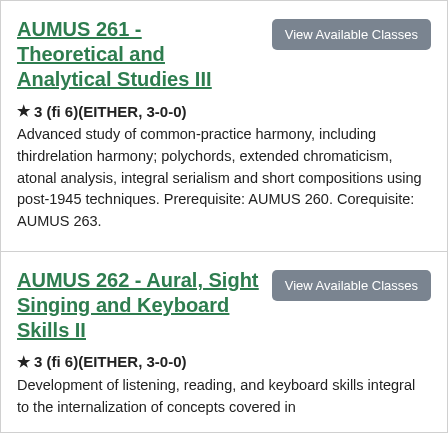AUMUS 261 - Theoretical and Analytical Studies III
★ 3 (fi 6)(EITHER, 3-0-0)
Advanced study of common-practice harmony, including thirdrelation harmony; polychords, extended chromaticism, atonal analysis, integral serialism and short compositions using post-1945 techniques. Prerequisite: AUMUS 260. Corequisite: AUMUS 263.
AUMUS 262 - Aural, Sight Singing and Keyboard Skills II
★ 3 (fi 6)(EITHER, 3-0-0)
Development of listening, reading, and keyboard skills integral to the internalization of concepts covered in